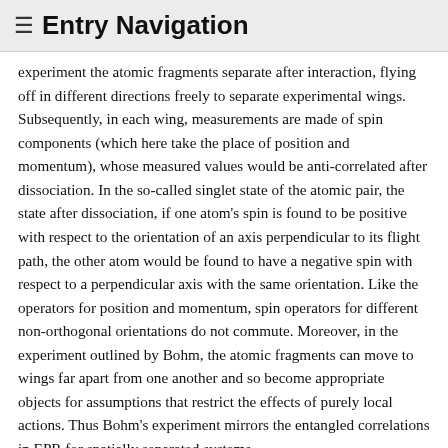≡ Entry Navigation
experiment the atomic fragments separate after interaction, flying off in different directions freely to separate experimental wings. Subsequently, in each wing, measurements are made of spin components (which here take the place of position and momentum), whose measured values would be anti-correlated after dissociation. In the so-called singlet state of the atomic pair, the state after dissociation, if one atom's spin is found to be positive with respect to the orientation of an axis perpendicular to its flight path, the other atom would be found to have a negative spin with respect to a perpendicular axis with the same orientation. Like the operators for position and momentum, spin operators for different non-orthogonal orientations do not commute. Moreover, in the experiment outlined by Bohm, the atomic fragments can move to wings far apart from one another and so become appropriate objects for assumptions that restrict the effects of purely local actions. Thus Bohm's experiment mirrors the entangled correlations in EPR for spatially separated systems,